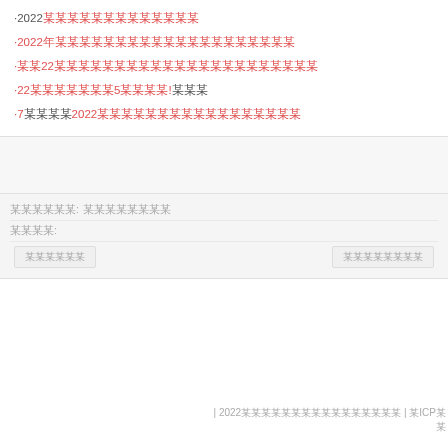·2022年某某某某某某某某某某某某某
·2022年某某某某某某某某某某某某某某某某某某某某
·某某22某某某某某某某某某某某某某某某某某某某某某
·22某某某某某某某5某某某某!某某某
·7某某某某2022某某某某某某某某某某某某某某某某某
某某某某某某: 某某某某某某某某
某某某某:
某某某某某某   某某某某某某某某
| 2022某某某某某某某某某某某某某某某某 | 某ICP某